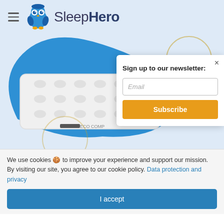SleepHero
[Figure (illustration): Blue blob shape background with a white tufted mattress labeled ECO COMP in the foreground. A golden circle outline is partially visible at the top right.]
Sign up to our newsletter:
Email
Subscribe
We use cookies 🍪 to improve your experience and support our mission. By visiting our site, you agree to our cookie policy. Data protection and privacy
I accept